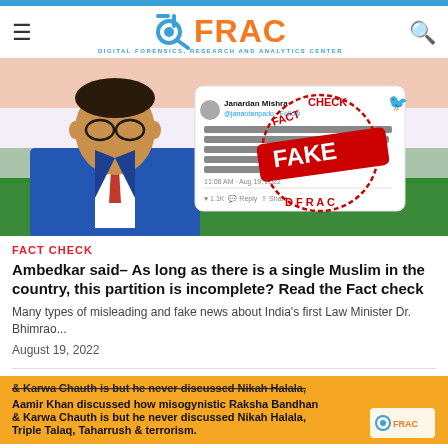DFRAC — Digital Forensics, Research and Analytics Center
[Figure (photo): Composite image showing an illustration of Dr. B.R. Ambedkar on the left with Indian flag background, overlaid with a screenshot of a tweet by Janardan Mishra, and a red FAKE stamp from DFRAC Fact Check.]
FACT CHECK
Ambedkar said– As long as there is a single Muslim in the country, this partition is incomplete? Read the Fact check
Many types of misleading and fake news about India's first Law Minister Dr. Bhimrao...
August 19, 2022
[Figure (screenshot): Bottom article preview image with orange background showing text: Aamir Khan discussed how misogynistic Raksha Bandhan & Karwa Chauth is but he never discussed Nikah Halala, Triple Talaq, Taharrush & terrorism. DFRAC logo visible on right.]